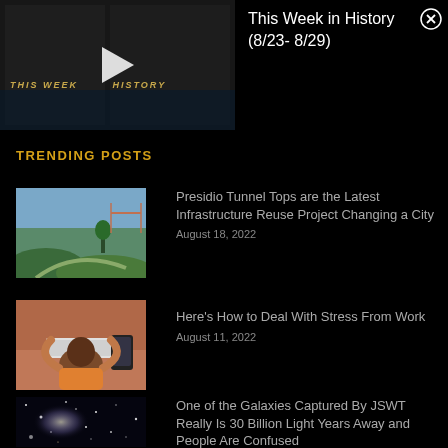[Figure (screenshot): Video thumbnail for 'This Week in History' with play button and dark background]
This Week in History (8/23- 8/29)
TRENDING POSTS
[Figure (photo): Outdoor aerial view of Presidio with Golden Gate Bridge in background]
Presidio Tunnel Tops are the Latest Infrastructure Reuse Project Changing a City
August 18, 2022
[Figure (photo): Person sitting at desk with keyboard and phone, viewed from behind]
Here's How to Deal With Stress From Work
August 11, 2022
[Figure (photo): Deep space galaxy image captured by JWST]
One of the Galaxies Captured By JSWT Really Is 30 Billion Light Years Away and People Are Confused